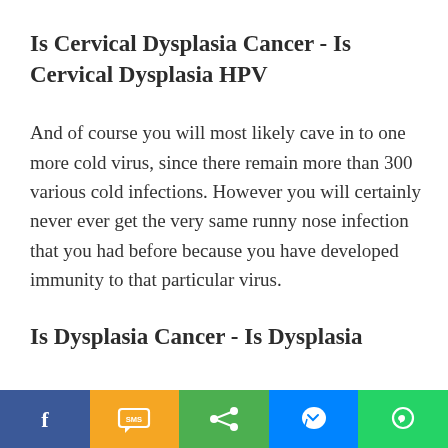Is Cervical Dysplasia Cancer - Is Cervical Dysplasia HPV
And of course you will most likely cave in to one more cold virus, since there remain more than 300 various cold infections. However you will certainly never ever get the very same runny nose infection that you had before because you have developed immunity to that particular virus.
Is Dysplasia Cancer - Is Dysplasia